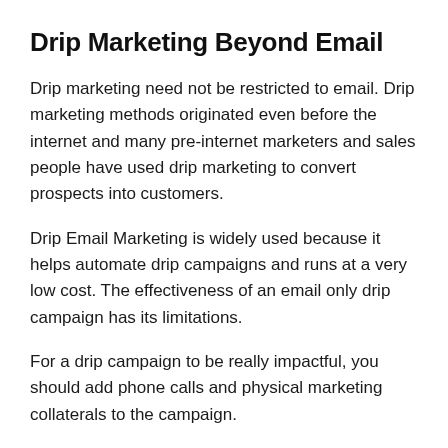Drip Marketing Beyond Email
Drip marketing need not be restricted to email. Drip marketing methods originated even before the internet and many pre-internet marketers and sales people have used drip marketing to convert prospects into customers.
Drip Email Marketing is widely used because it helps automate drip campaigns and runs at a very low cost. The effectiveness of an email only drip campaign has its limitations.
For a drip campaign to be really impactful, you should add phone calls and physical marketing collaterals to the campaign.